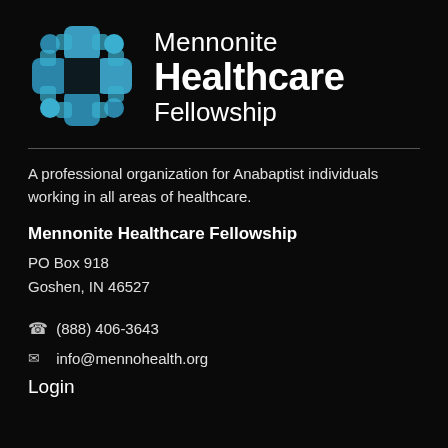[Figure (logo): Mennonite Healthcare Fellowship logo: a cross shape made of teal/blue puzzle-piece-like rounded shapes with circular ends, forming a plus sign pattern on a black background]
Mennonite Healthcare Fellowship
A professional organization for Anabaptist individuals working in all areas of healthcare.
Mennonite Healthcare Fellowship
PO Box 918
Goshen, IN 46527
(888) 406-3643
info@mennohealth.org
Login